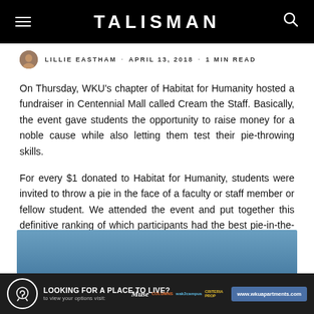TALISMAN
LILLIE EASTHAM · APRIL 13, 2018 · 1 MIN READ
On Thursday, WKU's chapter of Habitat for Humanity hosted a fundraiser in Centennial Mall called Cream the Staff. Basically, the event gave students the opportunity to raise money for a noble cause while also letting them test their pie-throwing skills.
For every $1 donated to Habitat for Humanity, students were invited to throw a pie in the face of a faculty or staff member or fellow student. We attended the event and put together this definitive ranking of which participants had the best pie-in-the-face moments of the day.
[Figure (photo): Blue sky background image, partially visible at bottom of article]
LOOKING FOR A PLACE TO LIVE? to view your options visit: www.wkuapartments.com